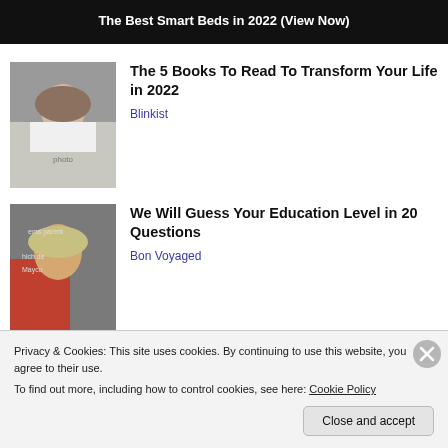[Figure (infographic): Dark banner ad reading 'The Best Smart Beds in 2022 (View Now)']
[Figure (photo): Photo of a blonde woman looking sideways, used as thumbnail for book article]
The 5 Books To Read To Transform Your Life in 2022
Blinkist
[Figure (photo): Photo of a blonde woman in red top in front of chalkboard, used as thumbnail for education quiz article]
We Will Guess Your Education Level in 20 Questions
Bon Voyaged
Privacy & Cookies: This site uses cookies. By continuing to use this website, you agree to their use.
To find out more, including how to control cookies, see here: Cookie Policy
Close and accept